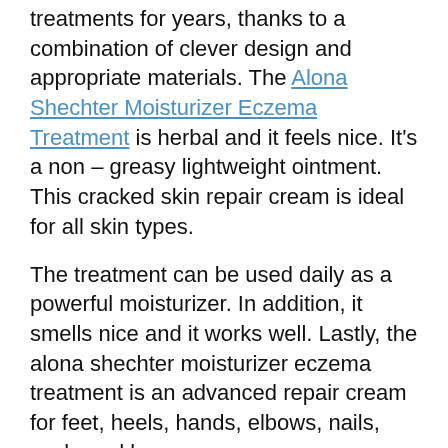treatments for years, thanks to a combination of clever design and appropriate materials. The Alona Shechter Moisturizer Eczema Treatment is herbal and it feels nice. It's a non – greasy lightweight ointment. This cracked skin repair cream is ideal for all skin types.
The treatment can be used daily as a powerful moisturizer. In addition, it smells nice and it works well. Lastly, the alona shechter moisturizer eczema treatment is an advanced repair cream for feet, heels, hands, elbows, nails, scalp and knees.
“It doesn’t smell like bath body but it works amazing. ” – says, one customer. Without any doubt, this treatment passed the test and had